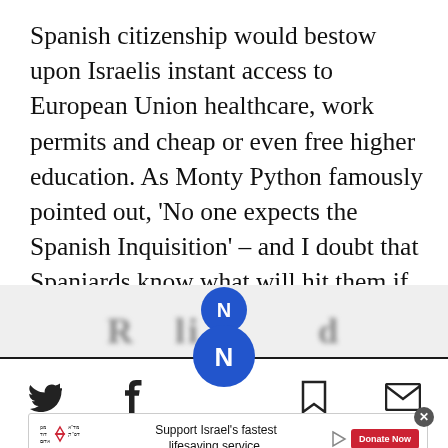Spanish citizenship would bestow upon Israelis instant access to European Union healthcare, work permits and cheap or even free higher education. As Monty Python famously pointed out, 'No one expects the Spanish Inquisition' – and I doubt that Spaniards know what will hit them if the bill becomes law.
[Figure (screenshot): Website bottom navigation bar with share icons (Twitter, Facebook, bookmark, email), a blue circular logo button, and an advertisement banner for Magen David Adom saying 'Support Israel's fastest lifesaving service' with a red Donate Now button.]